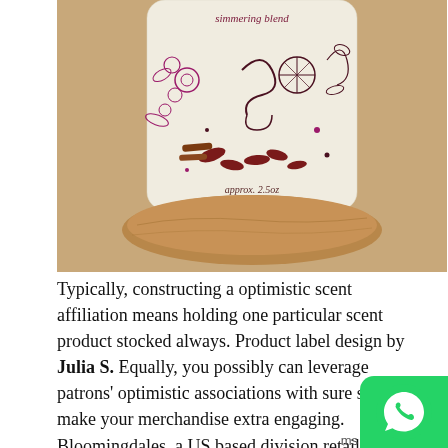[Figure (photo): A product photo of a white cloth/muslin sachet bag with decorative floral and botanical illustration printed in dark red/maroon ink. Text on the bag reads 'simmering blend' at the top and 'approx. 2.5oz' near the bottom. The bag is sitting on a cork or wood surface against a tan/beige background.]
Typically, constructing a optimistic scent affiliation means holding one particular scent product stocked always. Product label design by Julia S. Equally, you possibly can leverage patrons' optimistic associations with sure scents to make your merchandise extra engaging. Bloomingdales, a US based division retailer, embraces this technique b utilizing scents all through the shop: